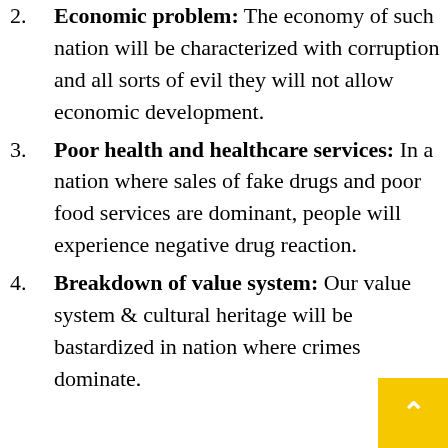Economic problem: The economy of such nation will be characterized with corruption and all sorts of evil they will not allow economic development.
Poor health and healthcare services: In a nation where sales of fake drugs and poor food services are dominant, people will experience negative drug reaction.
Breakdown of value system: Our value system & cultural heritage will be bastardized in nation where crimes dominate.